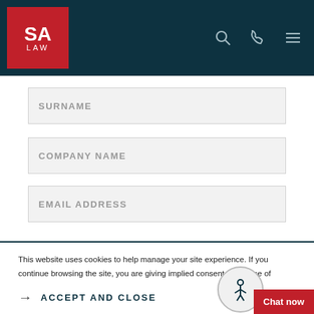SA LAW
SURNAME
COMPANY NAME
EMAIL ADDRESS
This website uses cookies to help manage your site experience. If you continue browsing the site, you are giving implied consent to the use of cookies on this website. See our cookie policy for details
ACCEPT AND CLOSE
Chat now